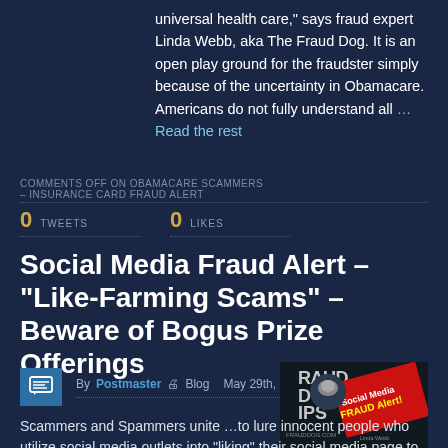universal health care,” says fraud expert Linda Webb, aka The Fraud Dog. It is an open play ground for the fraudster simply because of the uncertainty in Obamacare. Americans do not fully understand all …Read the rest
COMMENTS OFF ON OBAMACARE SCAMMERS – INSURANCE CARD FRAUD ALERT
0 TWEETS  0 LIKES
Social Media Fraud Alert – “Like-Farming Scams” – Beware of Bogus Prize Offerings
By Postmaster • Blog • May 29th, 2013
[Figure (illustration): Fraud Dog Tips social media fraud alert promotional image with red diagonal banner text reading 'Social Media FRAUD Alert!' and frauddog.com branding]
Scammers and Spammers unite …to lure innocent people who utilize social media outlets into “liking” their social media page to win bogus